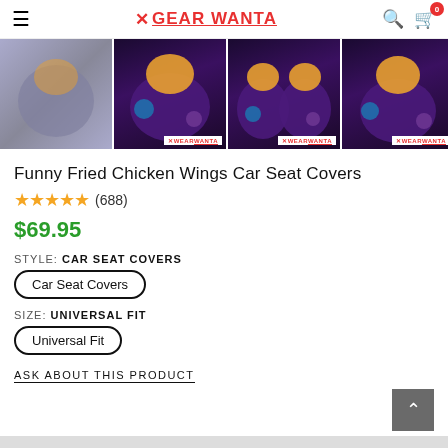GEAR WANTA (navigation header with logo, search, cart)
[Figure (photo): Four product thumbnail images of Funny Fried Chicken Wings Car Seat Covers — dark purple/galaxy pattern with orange chicken wing motif, shown installed in cars and as pairs. Three images have 'WEAR WANTA' watermark.]
Funny Fried Chicken Wings Car Seat Covers
★★★★★ (688)
$69.95
STYLE: CAR SEAT COVERS
Car Seat Covers
SIZE: UNIVERSAL FIT
Universal Fit
ASK ABOUT THIS PRODUCT